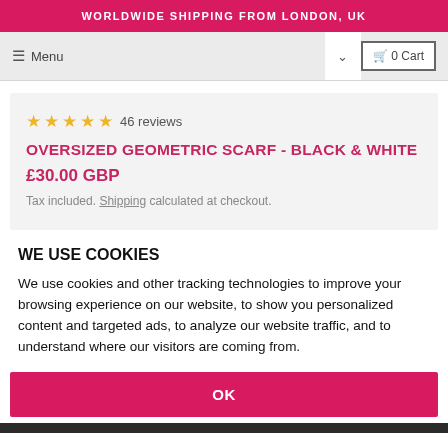WORLDWIDE SHIPPING FROM LONDON, UK
≡ Menu
🛒 0 Cart
★★★★★ 46 reviews
OVERSIZED GEOMETRIC SCARF - BLACK & WHITE
£30.00 GBP
Tax included. Shipping calculated at checkout.
WE USE COOKIES
We use cookies and other tracking technologies to improve your browsing experience on our website, to show you personalized content and targeted ads, to analyze our website traffic, and to understand where our visitors are coming from.
OK